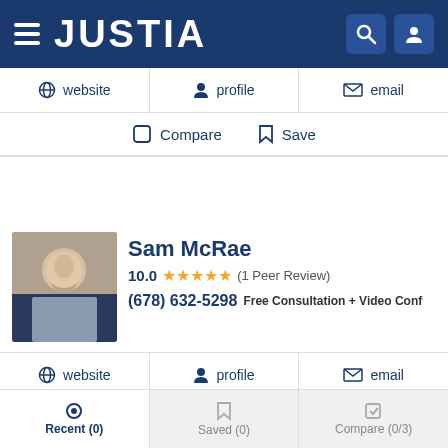JUSTIA
website | profile | email
Compare | Save
Sam McRae
10.0 ★★★★★ (1 Peer Review)
(678) 632-5298  Free Consultation + Video Conf
website | profile | email
Compare | Save
Cawanna Anise McMichael
10.0 ★★★★★ (1 Peer Review)
Recent (0) | Saved (0) | Compare (0/3)